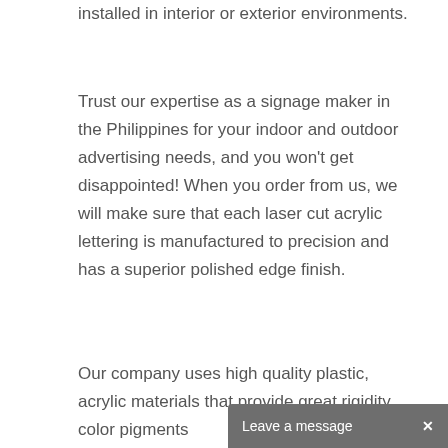installed in interior or exterior environments.
Trust our expertise as a signage maker in the Philippines for your indoor and outdoor advertising needs, and you won't get disappointed! When you order from us, we will make sure that each laser cut acrylic lettering is manufactured to precision and has a superior polished edge finish.
Our company uses high quality plastic, acrylic materials that provide great rigidity, color pigments